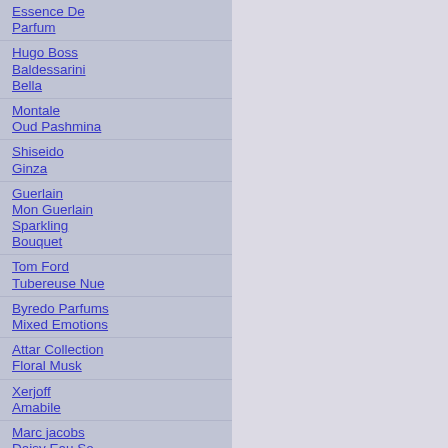Essence De Parfum
Hugo Boss Baldessarini Bella
Montale Oud Pashmina
Shiseido Ginza
Guerlain Mon Guerlain Sparkling Bouquet
Tom Ford Tubereuse Nue
Byredo Parfums Mixed Emotions
Attar Collection Floral Musk
Xerjoff Amabile
Marc jacobs Daisy Eau So Intense
Lancome La Vie Est Belle Soleil Cristal
Lancome Idole Limited